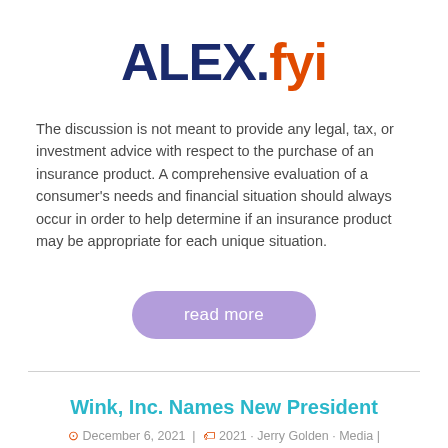[Figure (logo): ALEX.fyi logo with ALEX in dark navy bold text and .fyi in orange bold text]
The discussion is not meant to provide any legal, tax, or investment advice with respect to the purchase of an insurance product. A comprehensive evaluation of a consumer's needs and financial situation should always occur in order to help determine if an insurance product may be appropriate for each unique situation.
read more
Wink, Inc. Names New President
December 6, 2021 | 2021 | Jerry Golden, Media |